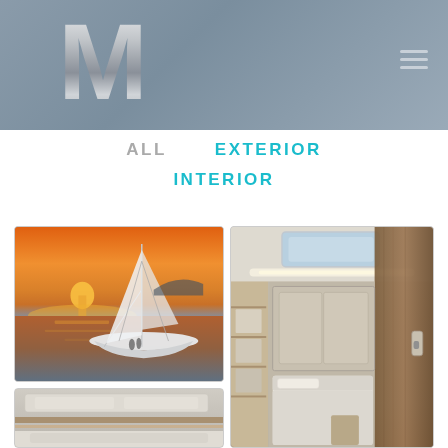[Figure (logo): Large silver/metallic M logo on steel blue gradient background header with hamburger menu icon top right]
ALL   EXTERIOR   INTERIOR
[Figure (photo): Catamaran sailboat at sunset on calm water with orange sky]
[Figure (photo): Yacht interior cabin with wood paneling, skylight, and bed]
[Figure (photo): Yacht interior ceiling/cockpit area partial view]